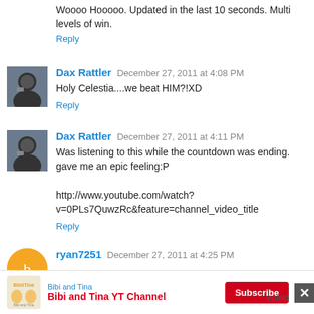Woooo Hooooo. Updated in the last 10 seconds. Multi levels of win.
Reply
Dax Rattler  December 27, 2011 at 4:08 PM
Holy Celestia....we beat HIM?!XD
Reply
Dax Rattler  December 27, 2011 at 4:11 PM
Was listening to this while the countdown was ending. gave me an epic feeling:P

http://www.youtube.com/watch?v=0PLs7QuwzRc&feature=channel_video_title
Reply
ryan7251  December 27, 2011 at 4:25 PM
[Figure (infographic): Advertisement banner for Bibi and Tina YT Channel with logo, Subscribe button, and close X button]